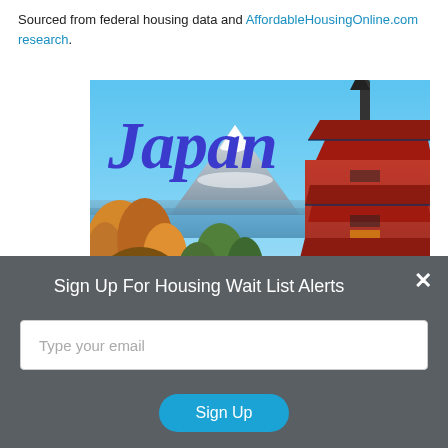Sourced from federal housing data and AffordableHousingOnline.com research.
[Figure (photo): Japan travel advertisement showing Mount Fuji and a red pagoda with text 'Japan' and 'DISCOVER AMAZING TRAVEL']
Sign Up For Housing Wait List Alerts
Type your email
Sign Up